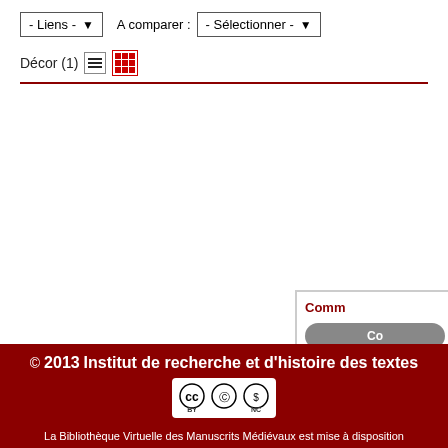[Figure (screenshot): Web interface toolbar with two dropdowns: '- Liens -' and 'A comparer : - Sélectionner -', plus 'Décor (1)' label with list and grid view icons, followed by a dark red horizontal separator line.]
[Figure (screenshot): Partially visible comment/action box at right edge with bold dark red 'Comm' title and two rounded buttons: a gray button and a red button labeled 'R'.]
© 2013 Institut de recherche et d'histoire des textes
La Bibliothèque Virtuelle des Manuscrits Médiévaux est mise à disposition